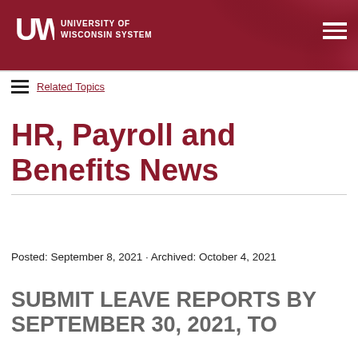[Figure (logo): University of Wisconsin System logo with UW mark and text on dark red banner header with decorative curved background]
Related Topics
HR, Payroll and Benefits News
Posted: September 8, 2021 · Archived: October 4, 2021
SUBMIT LEAVE REPORTS BY SEPTEMBER 30, 2021, TO